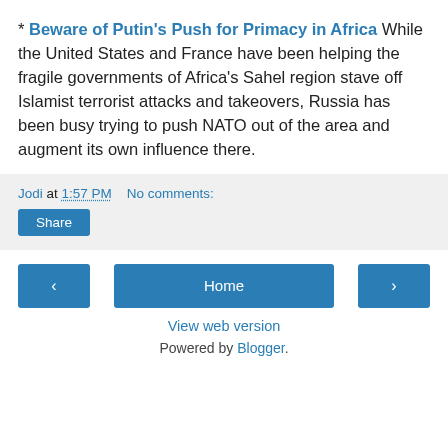* Beware of Putin's Push for Primacy in Africa While the United States and France have been helping the fragile governments of Africa's Sahel region stave off Islamist terrorist attacks and takeovers, Russia has been busy trying to push NATO out of the area and augment its own influence there.
Jodi at 1:57 PM   No comments:
Share
‹
Home
›
View web version
Powered by Blogger.